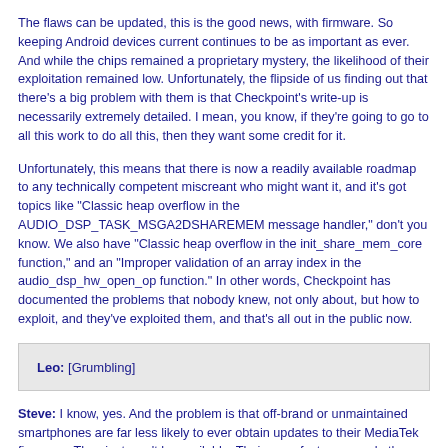The flaws can be updated, this is the good news, with firmware. So keeping Android devices current continues to be as important as ever. And while the chips remained a proprietary mystery, the likelihood of their exploitation remained low. Unfortunately, the flipside of us finding out that there's a big problem with them is that Checkpoint's write-up is necessarily extremely detailed. I mean, you know, if they're going to go to all this work to do all this, then they want some credit for it.
Unfortunately, this means that there is now a readily available roadmap to any technically competent miscreant who might want it, and it's got topics like "Classic heap overflow in the AUDIO_DSP_TASK_MSGA2DSHAREMEM message handler," don't you know. We also have "Classic heap overflow in the init_share_mem_core function," and an "Improper validation of an array index in the audio_dsp_hw_open_op function." In other words, Checkpoint has documented the problems that nobody knew, not only about, but how to exploit, and they've exploited them, and that's all out in the public now.
Leo: [Grumbling]
Steve: I know, yes. And the problem is that off-brand or unmaintained smartphones are far less likely to ever obtain updates to their MediaTek firmware. They just won't be available. Their manufacturers made the phone, sold the phone, and moved on to something else. So those original vendors won't ever bother, even if their users wanted to update. So on top of the already overwhelming number of